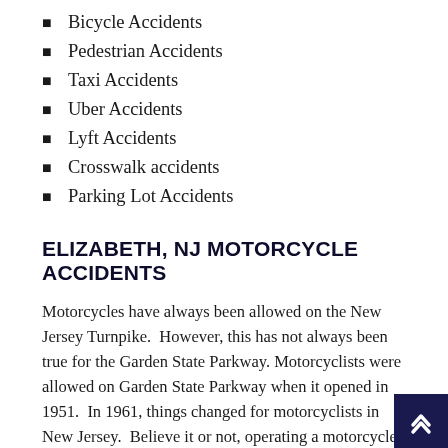Bicycle Accidents
Pedestrian Accidents
Taxi Accidents
Uber Accidents
Lyft Accidents
Crosswalk accidents
Parking Lot Accidents
ELIZABETH, NJ MOTORCYCLE ACCIDENTS
Motorcycles have always been allowed on the New Jersey Turnpike.  However, this has not always been true for the Garden State Parkway. Motorcyclists were allowed on Garden State Parkway when it opened in 1951.  In 1961, things changed for motorcyclists in New Jersey.  Believe it or not, operating a motorcycle on the Garden State Parkway between 1961 and was illegal because of the personal injury and property dama… due to motorcycle accidents.  In 1975, Governor Byrne signed a bill allowing motorcyclists to operate on the Garden State Parkway again under pressure from motorcycle groups, provided